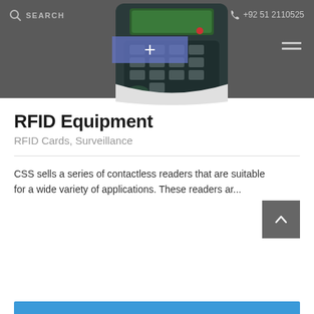SEARCH   +92 51 2110525
[Figure (photo): RFID keypad device with numeric keypad and green LCD display shown on dark grey header background]
RFID Equipment
RFID Cards, Surveillance
CSS sells a series of contactless readers that are suitable for a wide variety of applications. These readers ar...